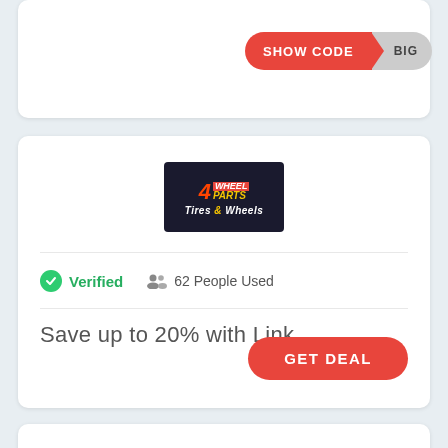[Figure (screenshot): SHOW CODE button with red rounded left portion and gray right portion showing 'BIG']
[Figure (logo): 4 Wheel Parts Tires & Wheels logo on dark background]
Verified   62 People Used
Save up to 20% with Link
GET DEAL